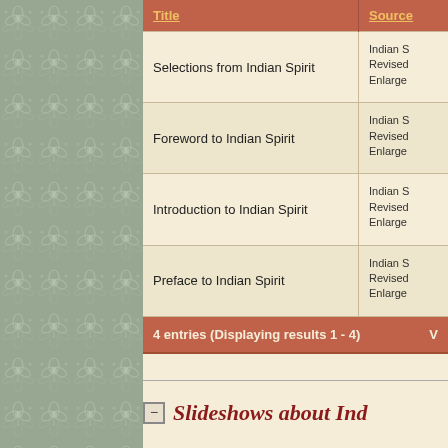[Figure (illustration): Decorative teal and cream floral/arabesque pattern on left side panel background]
| Title | Source |
| --- | --- |
| Selections from Indian Spirit | Indian S
Revised
Enlarge |
| Foreword to Indian Spirit | Indian S
Revised
Enlarge |
| Introduction to Indian Spirit | Indian S
Revised
Enlarge |
| Preface to Indian Spirit | Indian S
Revised
Enlarge |
4 entries (Displaying results 1 - 4)
Slideshows about Ind